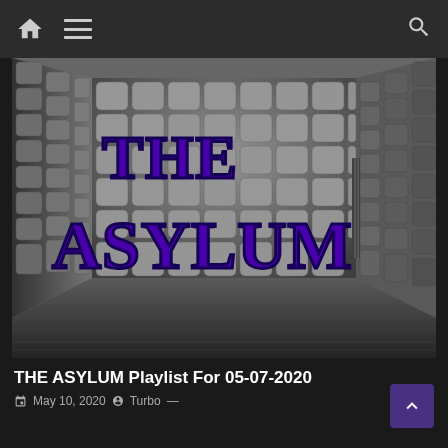Navigation bar with home icon, hamburger menu, and search icon
[Figure (photo): The Asylum padded room 3D render showing white quilted padded walls in a corner room with a door visible on the right side. Large stylized purple text reading 'THE ASYLUM' is displayed prominently on the padded wall.]
THE ASYLUM Playlist For 05-07-2020
May 10, 2020   Turbo —